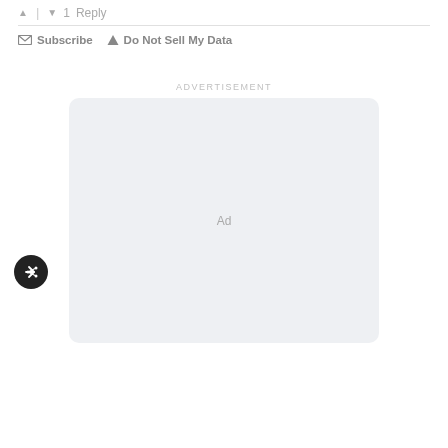↑ | ↓ 1  Reply
✉ Subscribe  ▲ Do Not Sell My Data
ADVERTISEMENT
[Figure (other): Light grey rounded rectangle advertisement placeholder box with 'Ad' text centered inside]
[Figure (other): Black circular share/export button with white share icon, positioned at lower left]